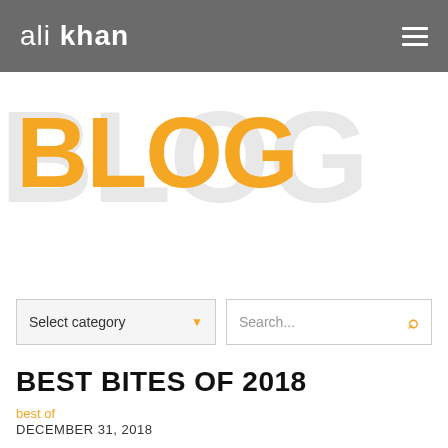ali khan
BLOG
Select category
Search...
BEST BITES OF 2018
best of
DECEMBER 31, 2018